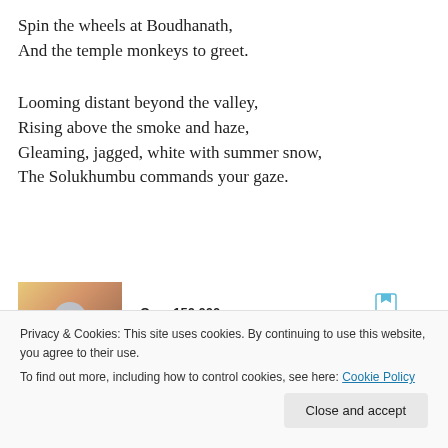Spin the wheels at Boudhanath,
And the temple monkeys to greet.
Looming distant beyond the valley,
Rising above the smoke and haze,
Gleaming, jagged, white with summer snow,
The Solukhumbu commands your gaze.
[Figure (infographic): Advertisement for Day One Journal app showing a person photographing a sunset, with text 'Over 150,000 5-star reviews' and the Day One Journal logo]
From Lukla's first tilted landing,
Privacy & Cookies: This site uses cookies. By continuing to use this website, you agree to their use.
To find out more, including how to control cookies, see here: Cookie Policy